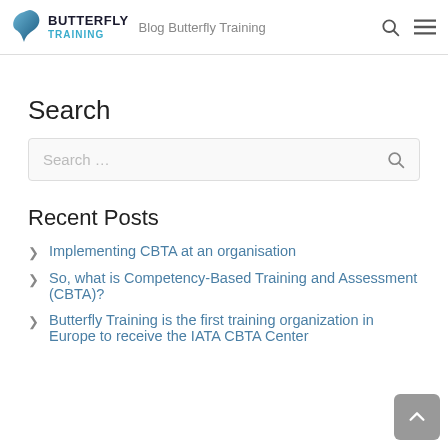BUTTERFLY TRAINING — Blog Butterfly Training
Search
Search ...
Recent Posts
Implementing CBTA at an organisation
So, what is Competency-Based Training and Assessment (CBTA)?
Butterfly Training is the first training organization in Europe to receive the IATA CBTA Center